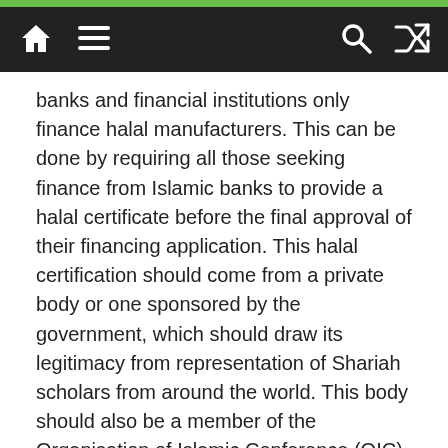Navigation bar with home, menu, search, and shuffle icons
banks and financial institutions only finance halal manufacturers. This can be done by requiring all those seeking finance from Islamic banks to provide a halal certificate before the final approval of their financing application. This halal certification should come from a private body or one sponsored by the government, which should draw its legitimacy from representation of Shariah scholars from around the world. This body should also be a member of the Organisation of Islamic Conference (OIC).
A similar kind of requirement should be introduced for investing in stocks of listed companies. Although it will be difficult to make this a strict general requirement for investing in